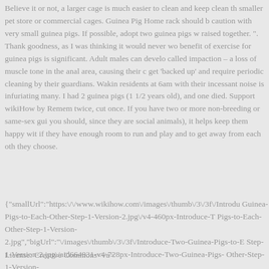Believe it or not, a larger cage is much easier to clean and keep clean than smaller pet store or commercial cages. Guinea Pig Home rack should be caution with very small guinea pigs. If possible, adopt two guinea pigs raised together. ". Thank goodness, as I was thinking it would never wo benefit of exercise for guinea pigs is significant. Adult males can develo called impaction – a loss of muscle tone in the anal area, causing their c get 'backed up' and require periodic cleaning by their guardians. Wakin residents at 6am with their incessant noise is infuriating many. I had 2 guinea pigs (1 1/2 years old), and one died. Support wikiHow by Remem twice, cut once. If you have two or more non-breeding or same-sex gui you should, since they are social animals), it helps keep them happy wit if they have enough room to run and play and to get away from each oth they choose.
{"smallUrl":"https:\/\/www.wikihow.com\/images\/thumb\/3\/3f\/Introdu Guinea-Pigs-to-Each-Other-Step-1-Version-2.jpg\/v4-460px-Introduce-T Pigs-to-Each-Other-Step-1-Version-2.jpg","bigUrl":"\/images\/thumb\/3\/3f\/Introduce-Two-Guinea-Pigs-to-E Step-1-Version-2.jpg\/aid664931-v4-728px-Introduce-Two-Guinea-Pigs- Other-Step-1-Version-2.jpg","smallWidth":460,"smallHeight":345,"bigWidth":728,"bigHeight":54
License: Creative Commons<\/a>